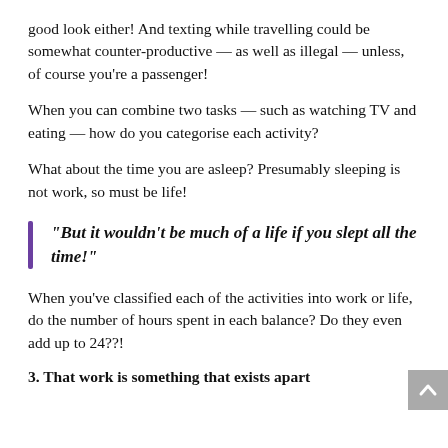good look either! And texting while travelling could be somewhat counter-productive — as well as illegal — unless, of course you're a passenger!
When you can combine two tasks — such as watching TV and eating — how do you categorise each activity?
What about the time you are asleep? Presumably sleeping is not work, so must be life!
“But it wouldn’t be much of a life if you slept all the time!”
When you’ve classified each of the activities into work or life, do the number of hours spent in each balance? Do they even add up to 24??!
3. That work is something that exists apart